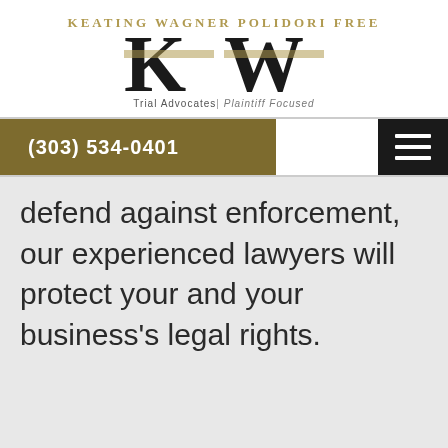[Figure (logo): Keating Wagner Polidori Free law firm logo with large KW monogram and tagline 'Trial Advocates | Plaintiff Focused']
(303) 534-0401
defend against enforcement, our experienced lawyers will protect your and your business's legal rights.